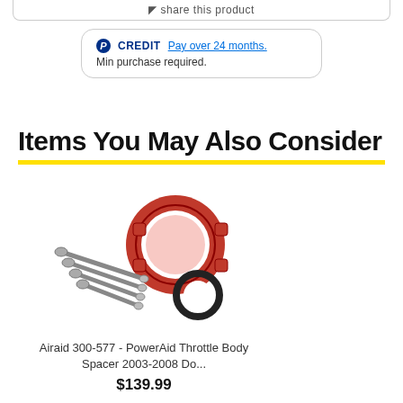Share this product
CREDIT Pay over 24 months. Min purchase required.
Items You May Also Consider
[Figure (photo): Red throttle body spacer ring with bolts and O-ring gasket components laid out on white background]
Airaid 300-577 - PowerAid Throttle Body Spacer 2003-2008 Do...
$139.99